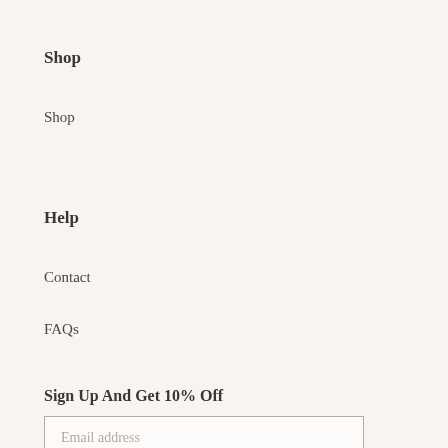Shop
Shop
Help
Contact
FAQs
Sign Up And Get 10% Off
Email address